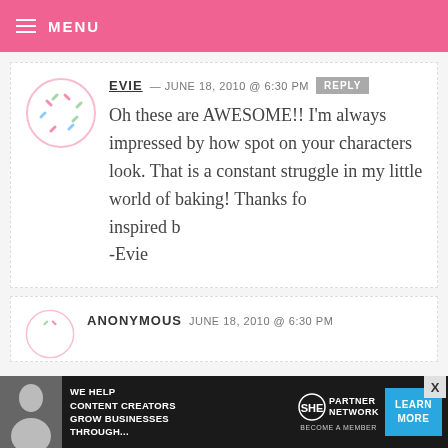MENU
EVIE — JUNE 18, 2010 @ 6:30 PM  REPLY
Oh these are AWESOME!! I'm always impressed by how spot on your characters look. That is a constant struggle in my little world of baking! Thanks fo inspired b -Evie
ANONYMOUS — JUNE 18, 2010 @ 6:30 PM
[Figure (infographic): Ad banner: WE HELP CONTENT CREATORS GROW BUSINESSES THROUGH... SHE PARTNER NETWORK BECOME A MEMBER. LEARN MORE button.]